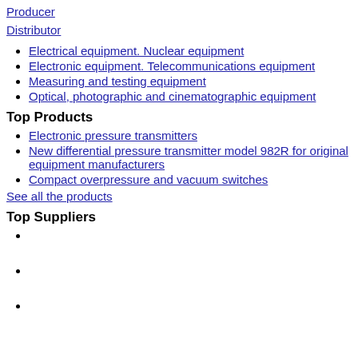Producer
Distributor
Electrical equipment. Nuclear equipment
Electronic equipment. Telecommunications equipment
Measuring and testing equipment
Optical, photographic and cinematographic equipment
Top Products
Electronic pressure transmitters
New differential pressure transmitter model 982R for original equipment manufacturers
Compact overpressure and vacuum switches
See all the products
Top Suppliers